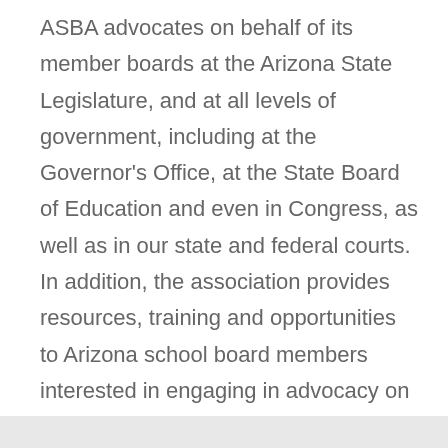ASBA advocates on behalf of its member boards at the Arizona State Legislature, and at all levels of government, including at the Governor's Office, at the State Board of Education and even in Congress, as well as in our state and federal courts. In addition, the association provides resources, training and opportunities to Arizona school board members interested in engaging in advocacy on behalf of their districts and Arizona K–12 education at the local, state and national level.